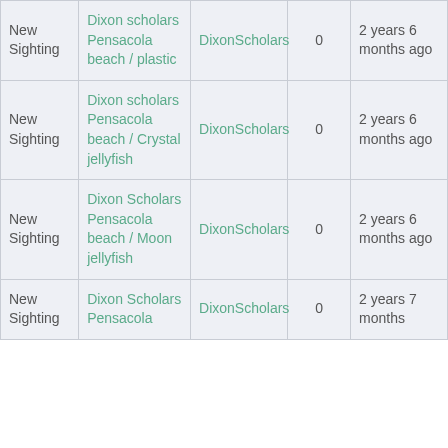| New Sighting | Dixon scholars Pensacola beach / plastic | DixonScholars | 0 | 2 years 6 months ago |
| New Sighting | Dixon scholars Pensacola beach / Crystal jellyfish | DixonScholars | 0 | 2 years 6 months ago |
| New Sighting | Dixon Scholars Pensacola beach / Moon jellyfish | DixonScholars | 0 | 2 years 6 months ago |
| New Sighting | Dixon Scholars Pensacola | DixonScholars | 0 | 2 years 7 months |